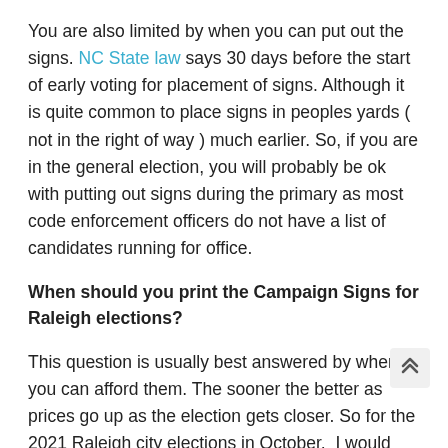You are also limited by when you can put out the signs. NC State law says 30 days before the start of early voting for placement of signs. Although it is quite common to place signs in peoples yards ( not in the right of way ) much earlier. So, if you are in the general election, you will probably be ok with putting out signs during the primary as most code enforcement officers do not have a list of candidates running for office.
When should you print the Campaign Signs for Raleigh elections?
This question is usually best answered by when you can afford them. The sooner the better as prices go up as the election gets closer. So for the 2021 Raleigh city elections in October,  I would say order before July.
What I recommend for candidates without an opponent is to